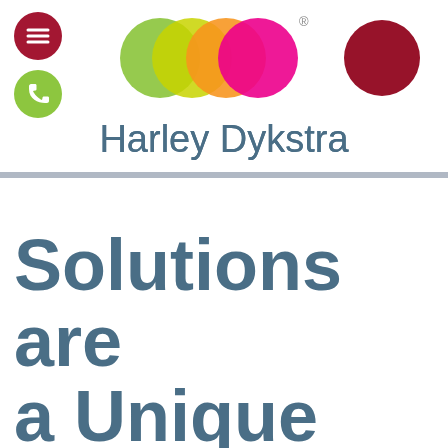[Figure (logo): Harley Dykstra logo with overlapping colored circles (lime green, yellow-green, orange, hot pink) and a separate dark red circle, plus menu hamburger button and phone button]
Harley Dykstra
Solutions are a Unique